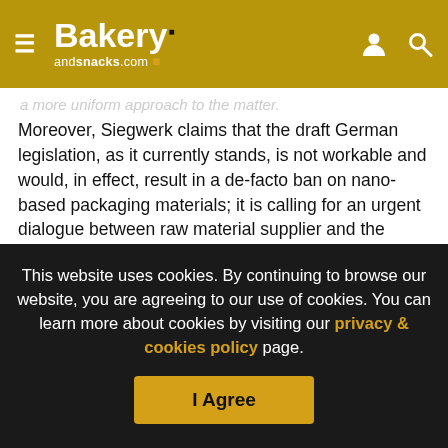Bakery andsnacks.com
a more uniform approach to the matter.
Moreover, Siegwerk claims that the draft German legislation, as it currently stands, is not workable and would, in effect, result in a de-facto ban on nano-based packaging materials; it is calling for an urgent dialogue between raw material supplier and the German federal authorities on the draft ordinance.
Copyright - Unless otherwise stated all contents of this web site are © 2022 - William Reed Ltd - All Rights Reserved - Full details for the use of materials on this site can be found in the Terms & Conditions
This website uses cookies. By continuing to browse our website, you are agreeing to our use of cookies. You can learn more about cookies by visiting our privacy & cookies policy page.